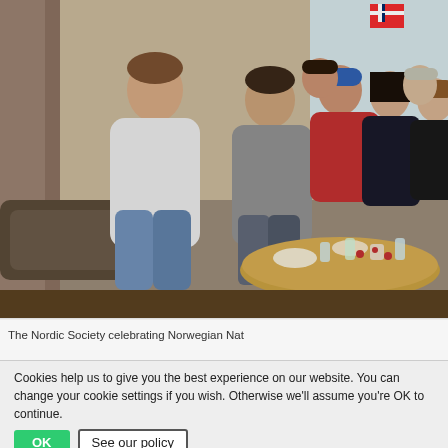[Figure (photo): Group of young people (Nordic Society members) sitting together in a common room around a table with food and drinks, celebrating Norwegian National Day. A Norwegian flag is visible in the background window.]
The Nordic Society celebrating Norwegian Nat…
You can find more messages from international and cultural
Cookies help us to give you the best experience on our website. You can change your cookie settings if you wish. Otherwise we'll assume you're OK to continue.